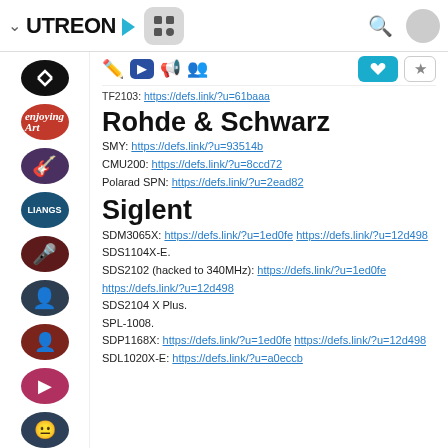UTREON (website header with navigation icons, search, and avatar)
TF2103: https://defs.link/?u=61baaa
Rohde & Schwarz
SMY: https://defs.link/?u=93514b
CMU200: https://defs.link/?u=8ccd72
Polarad SPN: https://defs.link/?u=2ead82
Siglent
SDM3065X: https://defs.link/?u=1ed0fe https://defs.link/?u=12d498
SDS1104X-E.
SDS2102 (hacked to 340MHz): https://defs.link/?u=1ed0fe https://defs.link/?u=12d498
SDS2104 X Plus.
SPL-1008.
SDP1168X: https://defs.link/?u=1ed0fe https://defs.link/?u=12d498
SDL1020X-E: https://defs.link/?u=a0eccb